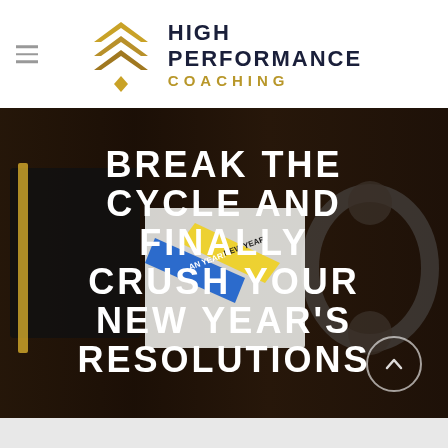[Figure (logo): High Performance Coaching logo with gold chevron/arrow mark and bold navy text HIGH PERFORMANCE COACHING with gold COACHING word]
[Figure (photo): Dark hero banner image showing notebook, headphones, pen on wooden desk with overlaid white bold text reading BREAK THE CYCLE AND FINALLY CRUSH YOUR NEW YEAR'S RESOLUTIONS and a circular scroll-up arrow button in bottom right]